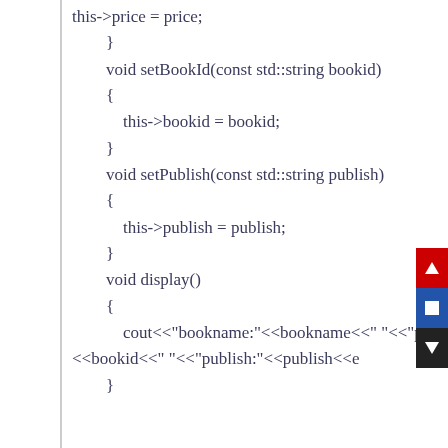this->price = price;
        }
        void setBookId(const std::string bookid)
        {
            this->bookid = bookid;
        }
        void setPublish(const std::string publish)
        {
            this->publish = publish;
        }
        void display()
        {
            cout<<"bookname:"<<bookname<<" "<<"pric
<<bookid<<" "<<"publish:"<<publish<<e
        }